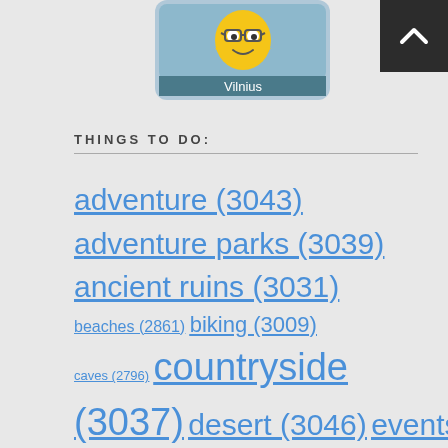[Figure (illustration): A cartoon mascot — yellow teardrop/pin shape with smiley face and glasses, on a light blue background, labeled 'Vilnius' in a teal banner at the bottom. Displayed in a rounded rectangle card.]
THINGS TO DO:
adventure (3043)
adventure parks (3039)
ancient ruins (3031)
beaches (2861)
biking (3009)
caves (2796)
countryside (3037)
desert (3046)
events (2896)
farms (3055)
festival